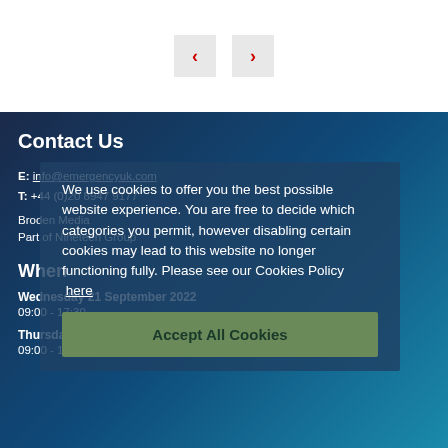[Figure (other): Navigation previous/next arrow buttons (< and >) on light grey background]
Contact Us
E: info@emergencyuk.com
T: +44 (0)20 8947 9177
Broden Media
Part of Nineteen Group
When
Wednesday 21 September 2022
09:00 - 17:30
Thursday 22 September 2022
09:00 - 16:00
We use cookies to offer you the best possible website experience. You are free to decide which categories you permit, however disabling certain cookies may lead to this website no longer functioning fully. Please see our Cookies Policy here
Accept All Cookies